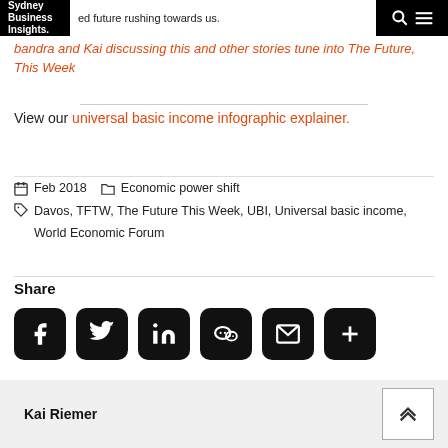Sydney Business Insights
ed future rushing towards us.
bandra and Kai discussing this and other stories tune into The Future, This Week
View our universal basic income infographic explainer.
Feb 2018   Economic power shift
Davos, TFTW, The Future This Week, UBI, Universal basic income, World Economic Forum
Share
Kai Riemer